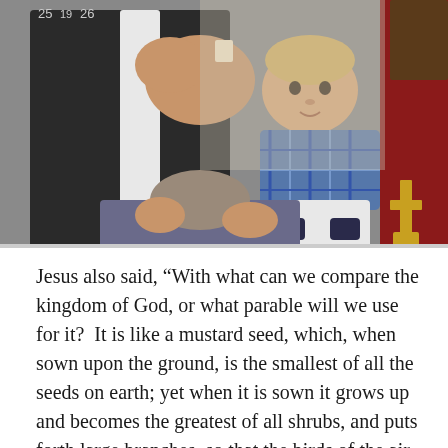[Figure (photo): A priest or pastor in black robes with a white stole holds a baby in a plaid shirt during what appears to be a baptism or communion ceremony inside a church. A gold cross is visible on the right side of the image. Numbers '25' and '26' are partially visible in the upper left corner.]
Jesus also said, “With what can we compare the kingdom of God, or what parable will we use for it?  It is like a mustard seed, which, when sown upon the ground, is the smallest of all the seeds on earth; yet when it is sown it grows up and becomes the greatest of all shrubs, and puts forth large branches, so that the birds of the air can make